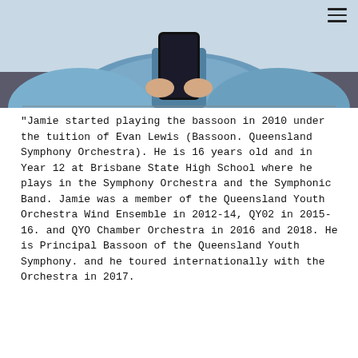[Figure (photo): Photo of a person in a blue denim shirt, partially visible from mid-torso up, holding a dark smartphone. Background shows a dark couch/sofa.]
"Jamie started playing the bassoon in 2010 under the tuition of Evan Lewis (Bassoon. Queensland Symphony Orchestra). He is 16 years old and in Year 12 at Brisbane State High School where he plays in the Symphony Orchestra and the Symphonic Band. Jamie was a member of the Queensland Youth Orchestra Wind Ensemble in 2012-14, QY02 in 2015-16. and QYO Chamber Orchestra in 2016 and 2018. He is Principal Bassoon of the Queensland Youth Symphony. and he toured internationally with the Orchestra in 2017.